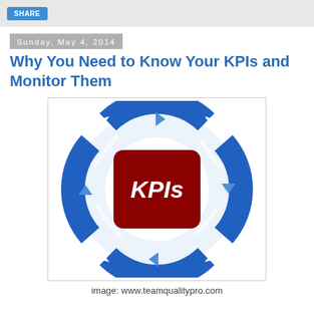SHARE
Sunday, May 4, 2014
Why You Need to Know Your KPIs and Monitor Them
[Figure (infographic): Circular KPI cycle diagram with four stages: Strategize (top-left), Measure (top-right), Innovate (bottom-right), Propagate (bottom-left), surrounding a red rounded-square center labeled 'KPIs' in white italic text. Blue arrows form a circular flow around the center.]
image: www.teamqualitypro.com